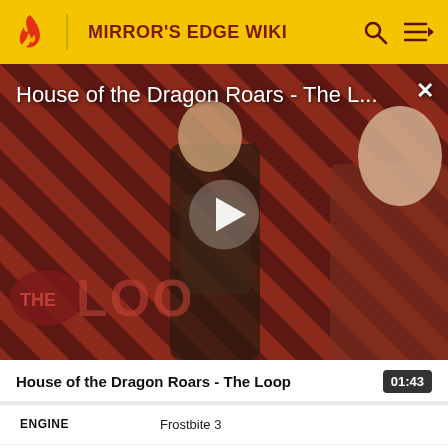MIRROR'S EDGE WIKI
[Figure (screenshot): Video player showing 'House of the Dragon Roars - The L...' with a play button overlay. Background shows diagonal red and dark stripes with characters from House of the Dragon. 'THE LOOP' logo visible in lower left corner. Close button (×) in top right.]
House of the Dragon Roars - The Loop  01:43
| Field | Value |
| --- | --- |
| ENGINE | Frostbite 3 |
| PLATFORM | PlayStation 4, Xbox One and PC |